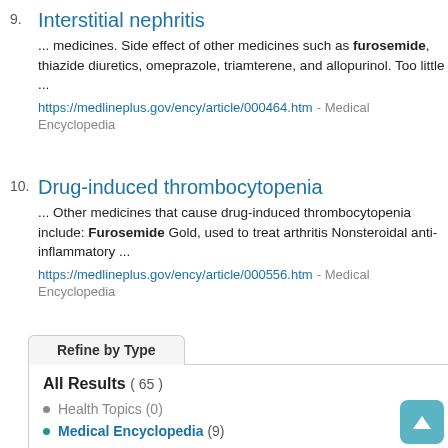9. Interstitial nephritis
... medicines. Side effect of other medicines such as furosemide, thiazide diuretics, omeprazole, triamterene, and allopurinol. Too little ...
https://medlineplus.gov/ency/article/000464.htm - Medical Encyclopedia
10. Drug-induced thrombocytopenia
... Other medicines that cause drug-induced thrombocytopenia include: Furosemide Gold, used to treat arthritis Nonsteroidal anti-inflammatory ...
https://medlineplus.gov/ency/article/000556.htm - Medical Encyclopedia
previous · 1 · 2 · 3 · 4 · 5 · 6 · 7 · next
Refine by Type
All Results ( 65 )
Health Topics (0)
Medical Encyclopedia (9)